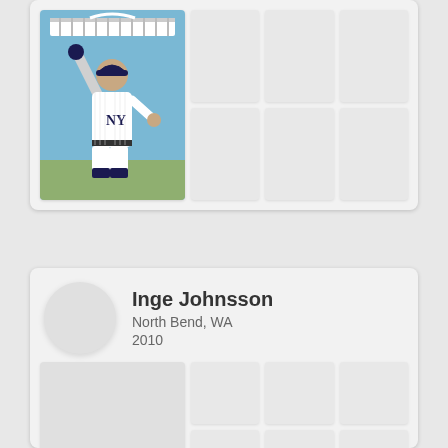[Figure (photo): Card with a baseball player in New York Yankees uniform raising arm, with stadium in background, and 6 blank photo placeholders in a 2x3 grid to the right]
Inge Johnsson
North Bend, WA
2010
[Figure (photo): User card with circular avatar placeholder, profile info, and a photo grid below with one large placeholder and 6 smaller placeholders]